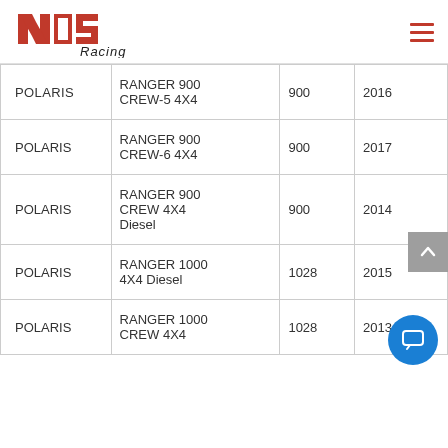NOS Racing logo and navigation menu
| Make | Model | CC | Year |
| --- | --- | --- | --- |
| POLARIS | RANGER 900 CREW-5 4X4 | 900 | 2016 |
| POLARIS | RANGER 900 CREW-6 4X4 | 900 | 2017 |
| POLARIS | RANGER 900 CREW 4X4 Diesel | 900 | 2014 |
| POLARIS | RANGER 1000 4X4 Diesel | 1028 | 2015 |
| POLARIS | RANGER 1000 CREW 4X4 | 1028 | 2013 |